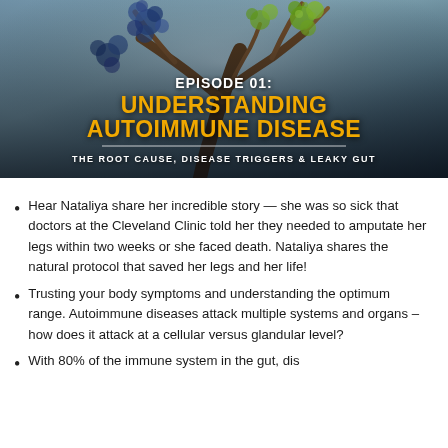[Figure (illustration): Dark atmospheric banner image featuring a stylized tree with branches against a blue-grey background, with green and purple/blue cell-like structures on the branches, representing autoimmune/biological imagery. Text overlay reads: EPISODE 01: UNDERSTANDING AUTOIMMUNE DISEASE — THE ROOT CAUSE, DISEASE TRIGGERS & LEAKY GUT]
Hear Nataliya share her incredible story — she was so sick that doctors at the Cleveland Clinic told her they needed to amputate her legs within two weeks or she faced death. Nataliya shares the natural protocol that saved her legs and her life!
Trusting your body symptoms and understanding the optimum range. Autoimmune diseases attack multiple systems and organs – how does it attack at a cellular versus glandular level?
With 80% of the immune system in the gut, dis...